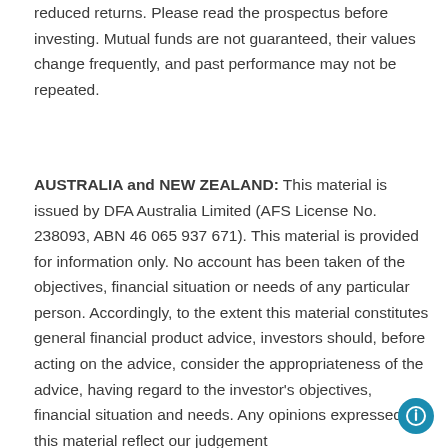reduced returns. Please read the prospectus before investing. Mutual funds are not guaranteed, their values change frequently, and past performance may not be repeated.
AUSTRALIA and NEW ZEALAND: This material is issued by DFA Australia Limited (AFS License No. 238093, ABN 46 065 937 671). This material is provided for information only. No account has been taken of the objectives, financial situation or needs of any particular person. Accordingly, to the extent this material constitutes general financial product advice, investors should, before acting on the advice, consider the appropriateness of the advice, having regard to the investor's objectives, financial situation and needs. Any opinions expressed in this material reflect our judgement